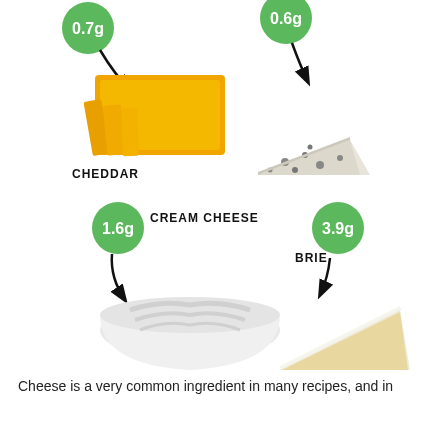[Figure (infographic): Infographic showing sugar content (in grams) of four types of cheese: Cheddar (0.7g), Blue cheese (0.6g), Cream Cheese (1.6g), and Brie (3.9g). Each cheese is represented by a photo with a green badge showing the sugar amount and an arrow pointing to the cheese image. Labels read CHEDDAR, CREAM CHEESE, and BRIE. Bottom watermark reads SWEET AS HONEY.]
Cheese is a very common ingredient in many recipes, and in